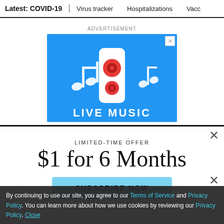Latest: COVID-19 | Virus tracker | Hospitalizations | Vacci
ADVERTISEMENT
[Figure (illustration): Blue advertisement banner with music notes, a speaker/stereo icon in white rounded rectangle with red circles, and the text LIVE MUSIC at the bottom in white bold letters]
LIMITED-TIME OFFER
$1 for 6 Months
SUBSCRIBE NOW
By continuing to use our site, you agree to our Terms of Service and Privacy Policy. You can learn more about how we use cookies by reviewing our Privacy Policy. Close